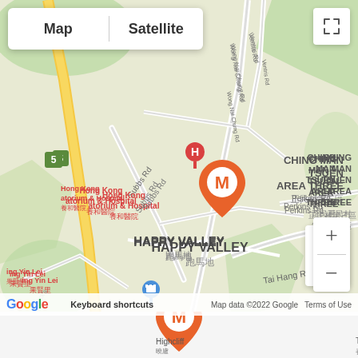[Figure (map): Google Maps screenshot showing Happy Valley area in Hong Kong. Features the Medialink office pin (orange M logo marker) in Happy Valley (跑馬地), with nearby landmarks including Hong Kong Sanatorium & Hospital, Hong Kong Adventist Hospital, Highcliff, The Hilltop in the Valley, The French School of Hong Kong, Cavendish, and various road labels (Subbs Rd, Perkins Rd, Tai Hang Rd, Wong Nai Chung Rd, Ventris Rd). Map/Satellite toggle and zoom controls visible. Footer shows Google logo, Keyboard shortcuts, Map data ©2022 Google, Terms of Use.]
[Figure (other): Partially visible orange Medialink pin marker at the very bottom of the page (cropped).]